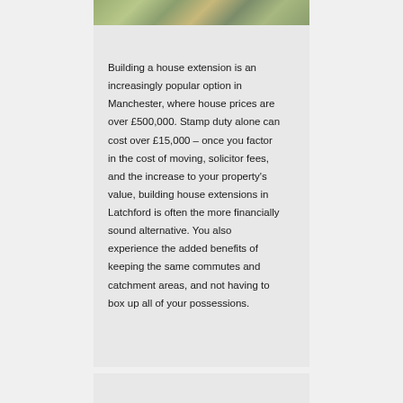[Figure (photo): Partial view of a house exterior with garden/patio area, green lawn visible at top of page]
Building a house extension is an increasingly popular option in Manchester, where house prices are over £500,000. Stamp duty alone can cost over £15,000 – once you factor in the cost of moving, solicitor fees, and the increase to your property's value, building house extensions in Latchford is often the more financially sound alternative. You also experience the added benefits of keeping the same commutes and catchment areas, and not having to box up all of your possessions.